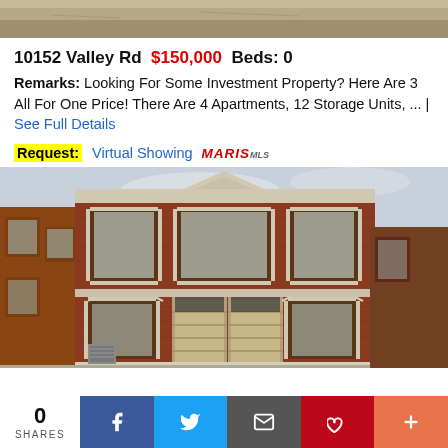[Figure (photo): Top portion of a property photo (gravel/ground area)]
10152 Valley Rd  $150,000  Beds: 0
Remarks: Looking For Some Investment Property? Here Are 3 All For One Price! There Are 4 Apartments, 12 Storage Units, ... | See Full Details
Request: Virtual Showing MARIS MLS
[Figure (photo): Front exterior photo of a two-story red brick apartment building with white trim, multiple windows, two garage-style doors on ground floor]
0 SHARES